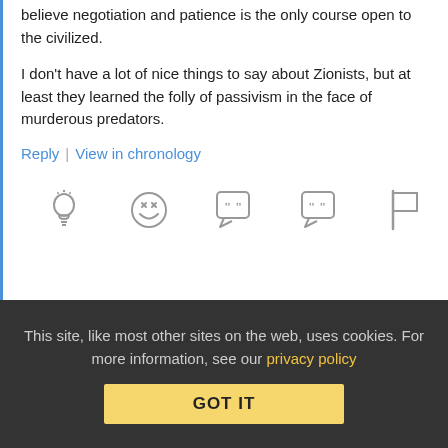believe negotiation and patience is the only course open to the civilized.

I don't have a lot of nice things to say about Zionists, but at least they learned the folly of passivism in the face of murderous predators.
Reply | View in chronology
[Figure (other): Row of five reaction/action icon buttons: lightbulb, laughing emoji, speech bubble with quote marks, speech bubble with quote marks variant, flag]
Add Your Comment
Your email address will not be published. Required fields are marked *
This site, like most other sites on the web, uses cookies. For more information, see our privacy policy
GOT IT